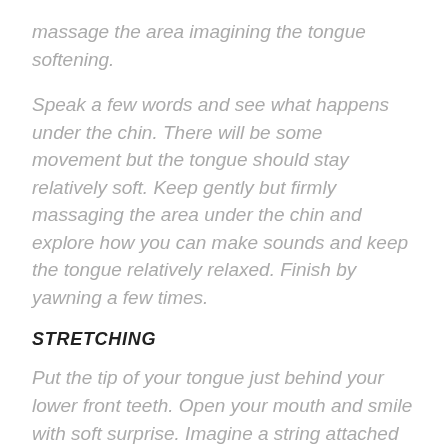massage the area imagining the tongue softening.
Speak a few words and see what happens under the chin. There will be some movement but the tongue should stay relatively soft. Keep gently but firmly massaging the area under the chin and explore how you can make sounds and keep the tongue relatively relaxed. Finish by yawning a few times.
STRETCHING
Put the tip of your tongue just behind your lower front teeth. Open your mouth and smile with soft surprise. Imagine a string attached to the middle part of your tongue and pulling it out out of your